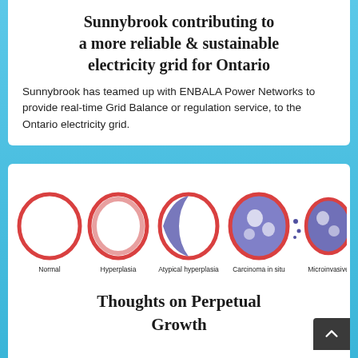Sunnybrook contributing to a more reliable & sustainable electricity grid for Ontario
Sunnybrook has teamed up with ENBALA Power Networks to provide real-time Grid Balance or regulation service, to the Ontario electricity grid.
[Figure (illustration): Five circular diagrams showing progression of breast tissue from Normal to Hyperplasia to Atypical hyperplasia to Carcinoma in situ to Microinvasive. Each circle is outlined in pink/red with increasing amounts of purple cellular material inside.]
Thoughts on Perpetual Growth